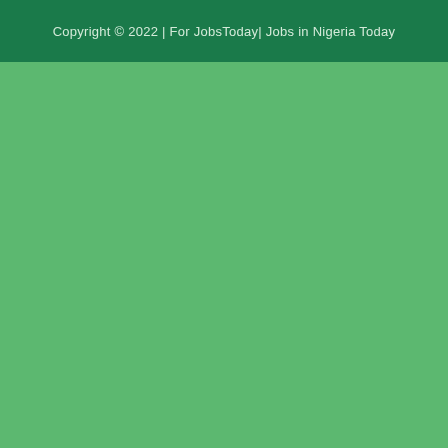Copyright © 2022 | For JobsToday| Jobs in Nigeria Today